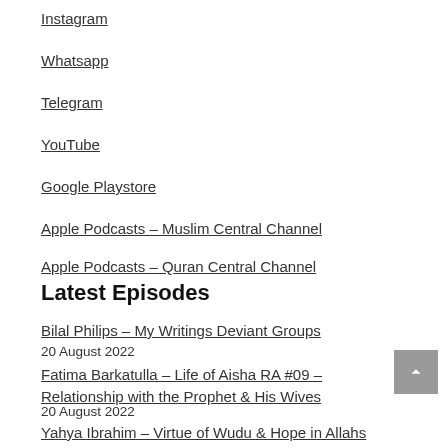Instagram
Whatsapp
Telegram
YouTube
Google Playstore
Apple Podcasts – Muslim Central Channel
Apple Podcasts – Quran Central Channel
Latest Episodes
Bilal Philips – My Writings Deviant Groups
20 August 2022
Fatima Barkatulla – Life of Aisha RA #09 – Relationship with the Prophet & His Wives
20 August 2022
Yahya Ibrahim – Virtue of Wudu & Hope in Allahs